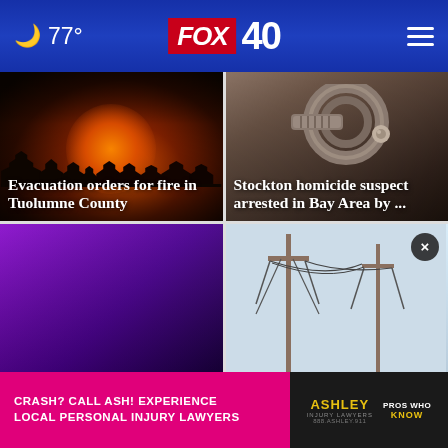🌙 77° FOX 40
[Figure (photo): Night wildfire photo showing orange and red flames/smoke against dark sky with tree silhouettes]
Evacuation orders for fire in Tuolumne County
[Figure (photo): Close-up photo of metal handcuffs on dark background]
Stockton homicide suspect arrested in Bay Area by ...
[Figure (photo): Purple/violet gradient background card]
[Figure (photo): Utility poles and wires against sky]
CRASH? CALL ASH! EXPERIENCE LOCAL PERSONAL INJURY LAWYERS
ASHLEY INJURY LAWYERS | PROS WHO KNOW